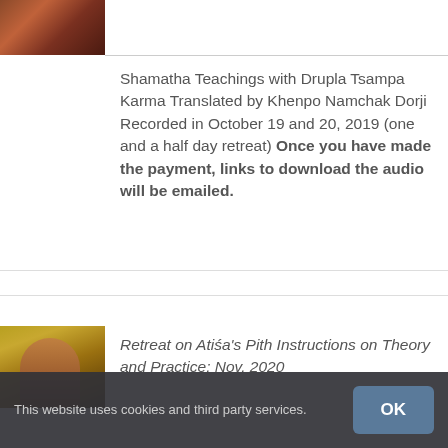[Figure (photo): Thumbnail photo of a religious teacher, reddish/warm tones]
Shamatha Teachings with Drupla Tsampa Karma Translated by Khenpo Namchak Dorji Recorded in October 19 and 20, 2019 (one and a half day retreat) Once you have made the payment,  links to download the audio will be emailed.
[Figure (photo): Thumbnail photo of a religious teacher wearing a red hat, dark tones]
Retreat on Atiśa's Pith Instructions on Theory and Practice: Nov. 2020
This website uses cookies and third party services.